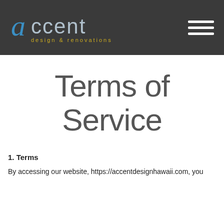accent design & renovations
Terms of Service
1. Terms
By accessing our website, https://accentdesignhawaii.com, you